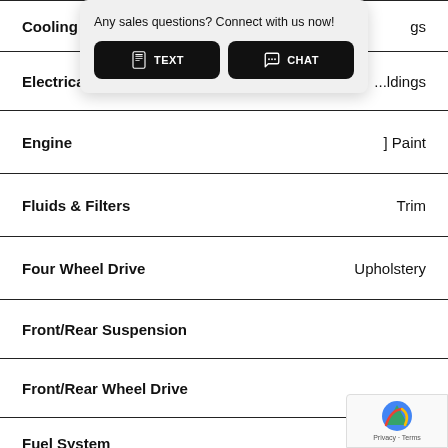[Figure (screenshot): Chat popup overlay with 'Any sales questions? Connect with us now!' text and TEXT and CHAT buttons]
Cooling S[ystem] | [Mouldin]gs
Electrical System | Mouldings
Engine | ] Paint
Fluids & Filters | Trim
Four Wheel Drive | Upholstery
Front/Rear Suspension
Front/Rear Wheel Drive
Fuel System
[Figure (screenshot): reCAPTCHA Privacy - Terms badge in bottom right corner]